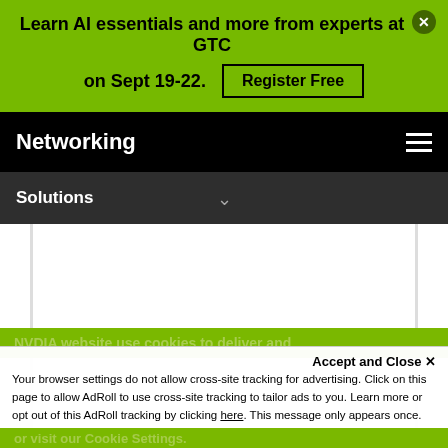Learn AI essentials and more from experts at GTC on Sept 19-22. Register Free
Networking
Solutions
Community
Accept and Close ✕
Your browser settings do not allow cross-site tracking for advertising. Click on this page to allow AdRoll to use cross-site tracking to tailor ads to you. Learn more or opt out of this AdRoll tracking by clicking here. This message only appears once.